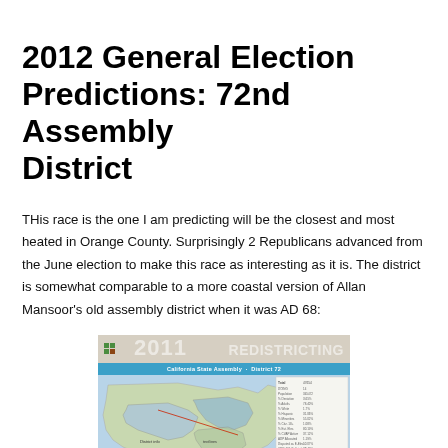2012 General Election Predictions: 72nd Assembly District
THis race is the one I am predicting will be the closest and most heated in Orange County. Surprisingly 2 Republicans advanced from the June election to make this race as interesting as it is. The district is somewhat comparable to a more coastal version of Allan Mansoor's old assembly district when it was AD 68:
[Figure (map): 2011 Redistricting map showing California State Assembly District 72 boundaries with demographic data table on right side]